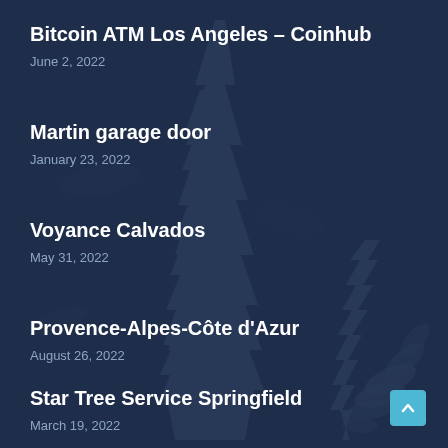Bitcoin ATM Los Angeles – Coinhub
June 2, 2022
Martin garage door
January 23, 2022
Voyance Calvados
May 31, 2022
Provence-Alpes-Côte d'Azur
August 26, 2022
Star Tree Service Springfield
March 19, 2022